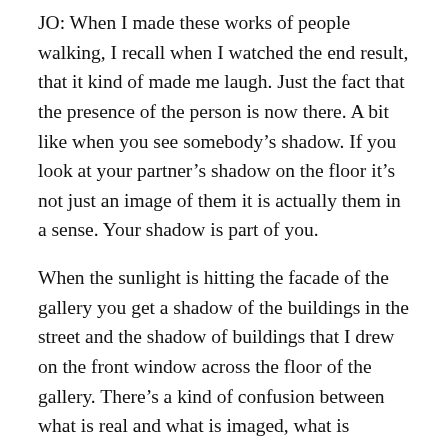JO: When I made these works of people walking, I recall when I watched the end result, that it kind of made me laugh. Just the fact that the presence of the person is now there. A bit like when you see somebody's shadow. If you look at your partner's shadow on the floor it's not just an image of them it is actually them in a sense. Your shadow is part of you.
When the sunlight is hitting the facade of the gallery you get a shadow of the buildings in the street and the shadow of buildings that I drew on the front window across the floor of the gallery. There's a kind of confusion between what is real and what is imaged, what is reflected, and I feel that is my point